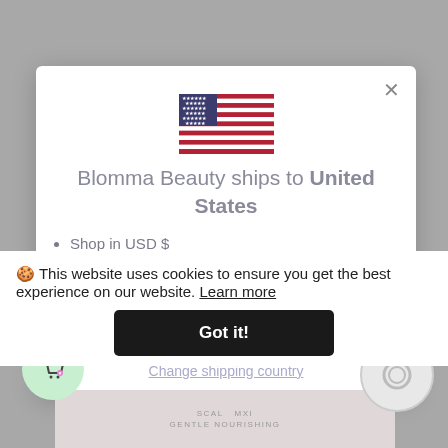[Figure (screenshot): Website modal dialog on Blomma Beauty e-commerce site showing country/currency selector with US flag, shipping info, and a cookie consent banner overlay]
Blomma Beauty ships to United States
Shop in USD $
Get shipping options for United States
Shop now
Change shipping country
🍪 This website uses cookies to ensure you get the best experience on our website. Learn more
Got it!